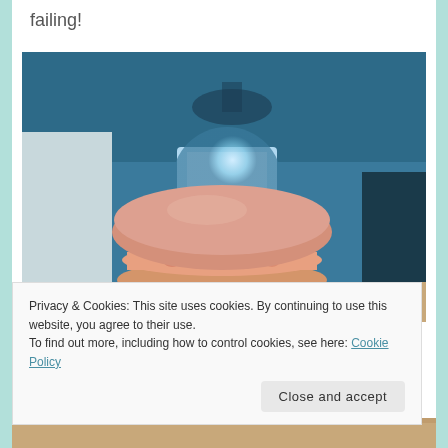failing!
[Figure (photo): A pink macaron cookie held up by a hand in front of a blurred teal/blue room background with a bright window. The macaron has a pink shell and pink cream filling visible from the side.]
Privacy & Cookies: This site uses cookies. By continuing to use this website, you agree to their use.
To find out more, including how to control cookies, see here: Cookie Policy
Close and accept